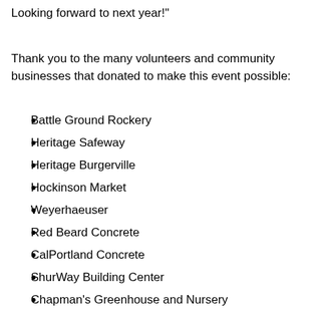Looking forward to next year!"
Thank you to the many volunteers and community businesses that donated to make this event possible:
Battle Ground Rockery
Heritage Safeway
Heritage Burgerville
Hockinson Market
Weyerhaeuser
Red Beard Concrete
CalPortland Concrete
ShurWay Building Center
Chapman's Greenhouse and Nursery
Scent Acres Lavender Form
Clark Native Plant Center